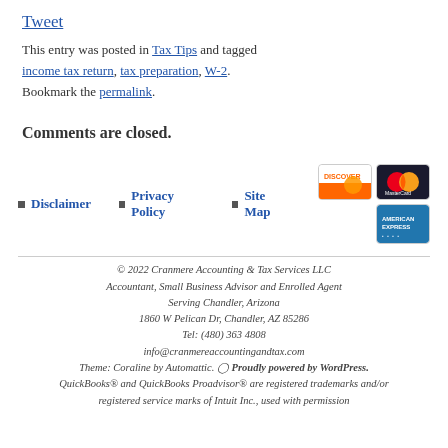Tweet
This entry was posted in Tax Tips and tagged income tax return, tax preparation, W-2. Bookmark the permalink.
Comments are closed.
Disclaimer | Privacy Policy | Site Map
[Figure (logo): Discover, MasterCard, and American Express credit card logos]
© 2022 Cranmere Accounting & Tax Services LLC
Accountant, Small Business Advisor and Enrolled Agent
Serving Chandler, Arizona
1860 W Pelican Dr, Chandler, AZ 85286
Tel: (480) 363 4808
info@cranmereaccountingandtax.com
Theme: Coraline by Automattic. Proudly powered by WordPress.
QuickBooks® and QuickBooks Proadvisor® are registered trademarks and/or registered service marks of Intuit Inc., used with permission